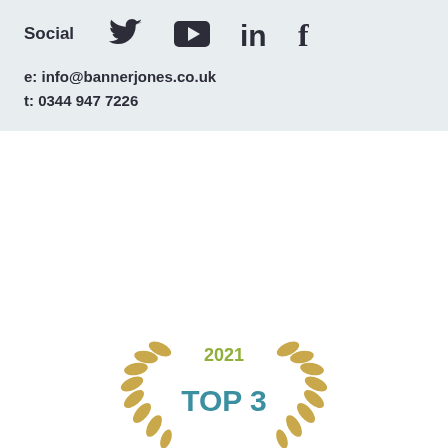Social
[Figure (infographic): Social media icons: Twitter bird, YouTube play button, LinkedIn 'in', Facebook 'f']
e: info@bannerjones.co.uk
t: 0344 947 7226
[Figure (logo): 2021 Top 3 award badge with golden laurel wreath and teal 'TOP 3' text]